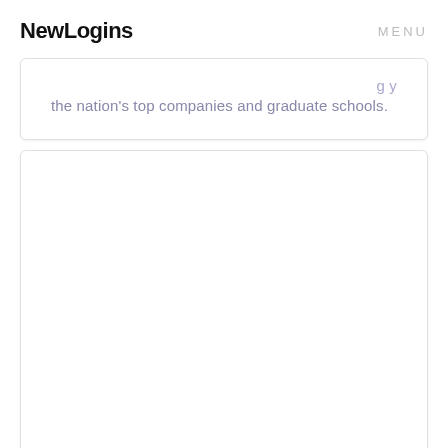NewLogins   MENU
the nation's top companies and graduate schools.
[Figure (other): Empty white card panel below the text card]